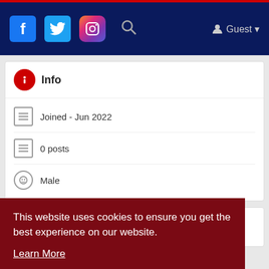Nav bar with Facebook, Twitter, Instagram icons, Search, Guest
Info
Joined - Jun 2022
0 posts
Male
Albums 0
This website uses cookies to ensure you get the best experience on our website. Learn More
Got It!
Groups 0